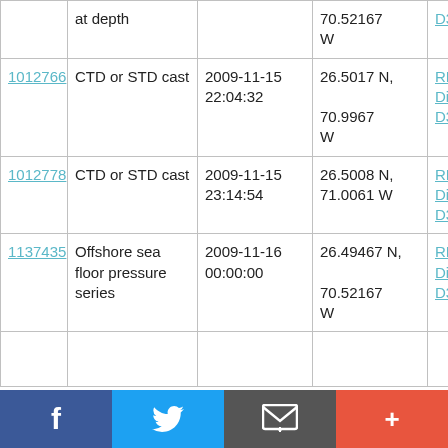| ID | Type | Date/Time | Location | Cruise |
| --- | --- | --- | --- | --- |
|  | at depth |  | 70.52167 W | D344 |
| 1012766 | CTD or STD cast | 2009-11-15 22:04:32 | 26.5017 N, 70.9967 W | RRS Discovery D344 |
| 1012778 | CTD or STD cast | 2009-11-15 23:14:54 | 26.5008 N, 71.0061 W | RRS Discovery D344 |
| 1137435 | Offshore sea floor pressure series | 2009-11-16 00:00:00 | 26.49467 N, 70.52167 W | RRS Discovery D344 |
Facebook | Twitter | Email | Add